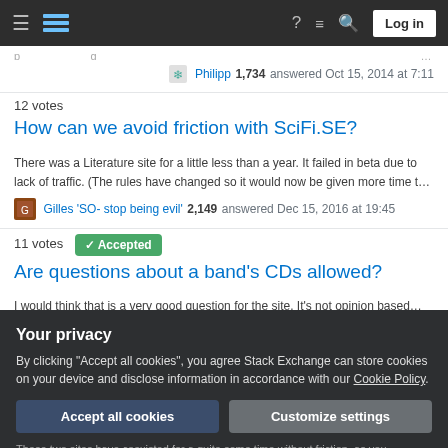Stack Exchange navigation bar with logo, hamburger menu, help, meta, search, and Log in button
partial navigation breadcrumb text (cropped)
Philipp 1,734 answered Oct 15, 2014 at 7:11
12 votes
How can we avoid friction with SciFi.SE?
There was a Literature site for a little less than a year. It failed in beta due to lack of traffic. (The rules have changed so it would now be given more time t…
Gilles 'SO- stop being evil' 2,149 answered Dec 15, 2016 at 19:45
11 votes  Accepted
Are questions about a band's CDs allowed?
I would think that is a very good question for the site. It's not opinion based…
Your privacy
By clicking "Accept all cookies", you agree Stack Exchange can store cookies on your device and disclose information in accordance with our Cookie Policy.
Accept all cookies
Customize settings
These two sites have coexisted for a quite some time without friction, as you…